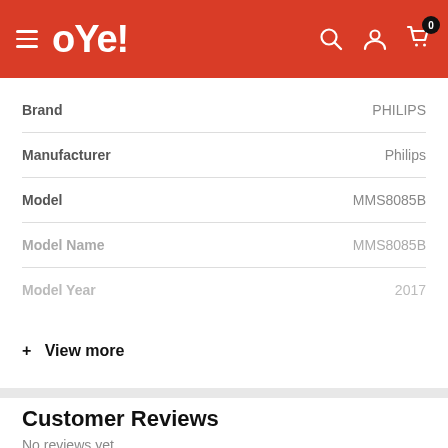oYe! (navigation header with search, account, and cart icons)
| Attribute | Value |
| --- | --- |
| Brand | PHILIPS |
| Manufacturer | Philips |
| Model | MMS8085B |
| Model Name | MMS8085B |
| Model Year | 2017 |
+ View more
Customer Reviews
No reviews yet
Write a review